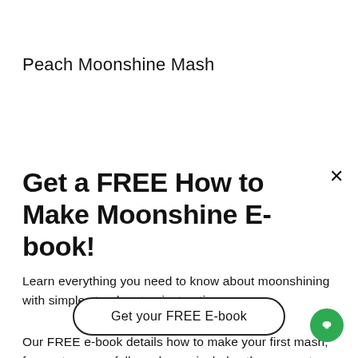Peach Moonshine Mash
Get a FREE How to Make Moonshine E-book!
Learn everything you need to know about moonshining with simple step-by-step instructions.
Our FREE e-book details how to make your first mash, ferment successfully and even includes three easy to make moonshine recipes!
Get your FREE E-book